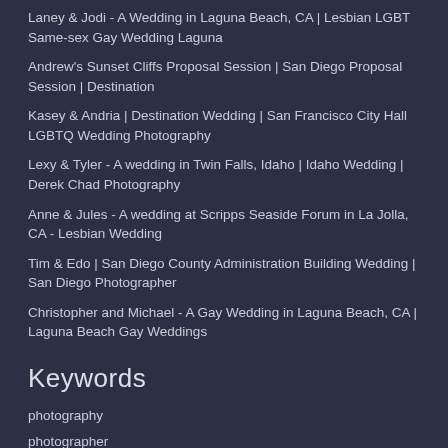Laney & Jodi - A Wedding in Laguna Beach, CA | Lesbian LGBT Same-sex Gay Wedding Laguna
Andrew's Sunset Cliffs Proposal Session | San Diego Proposal Session | Destination
Kasey & Andria | Destination Wedding | San Francisco City Hall LGBTQ Wedding Photography
Lexy & Tyler - A wedding in Twin Falls, Idaho | Idaho Wedding | Derek Chad Photography
Anne & Jules - A wedding at Scripps Seaside Forum in La Jolla, CA - Lesbian Wedding
Tim & Edo | San Diego County Administration Building Wedding | San Diego Photographer
Christopher and Michael - A Gay Wedding in Laguna Beach, CA | Laguna Beach Gay Weddings
Keywords
photography
photographer
wedding
derek
chad